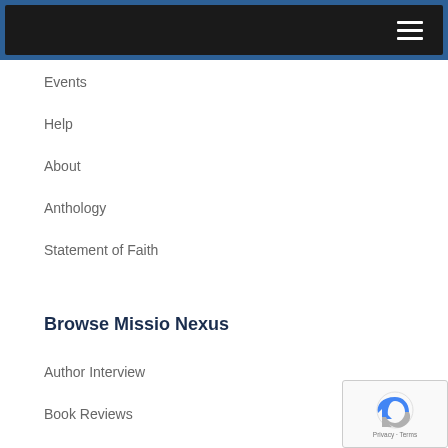Events
Help
About
Anthology
Statement of Faith
Browse Missio Nexus
Author Interview
Book Reviews